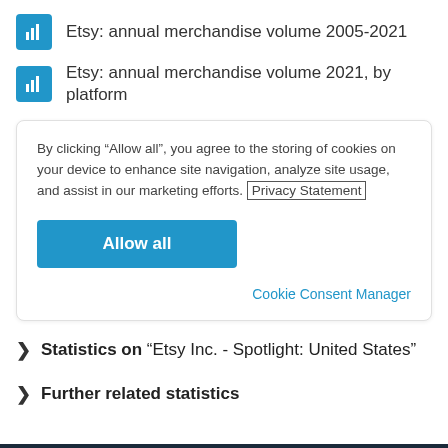Etsy: annual merchandise volume 2005-2021
Etsy: annual merchandise volume 2021, by platform
By clicking “Allow all”, you agree to the storing of cookies on your device to enhance site navigation, analyze site usage, and assist in our marketing efforts. Privacy Statement
Allow all
Cookie Consent Manager
Statistics on “Etsy Inc. - Spotlight: United States”
Further related statistics